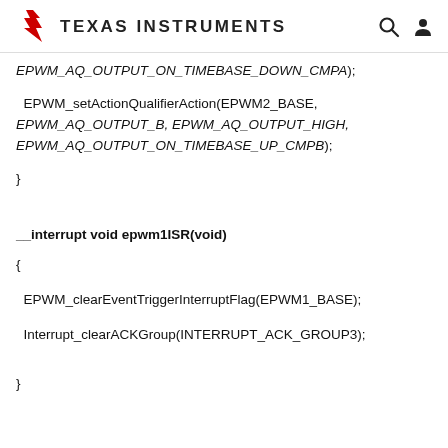Texas Instruments
EPWM_AQ_OUTPUT_ON_TIMEBASE_DOWN_CMPA);
EPWM_setActionQualifierAction(EPWM2_BASE, EPWM_AQ_OUTPUT_B, EPWM_AQ_OUTPUT_HIGH, EPWM_AQ_OUTPUT_ON_TIMEBASE_UP_CMPB);
}
__interrupt void epwm1ISR(void)
{
EPWM_clearEventTriggerInterruptFlag(EPWM1_BASE);
Interrupt_clearACKGroup(INTERRUPT_ACK_GROUP3);
}